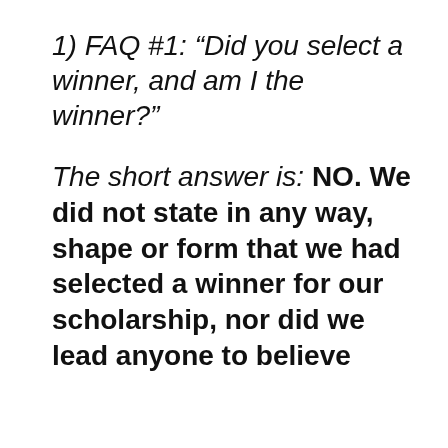1) FAQ #1: “Did you select a winner, and am I the winner?”
The short answer is: NO. We did not state in any way, shape or form that we had selected a winner for our scholarship, nor did we lead anyone to believe